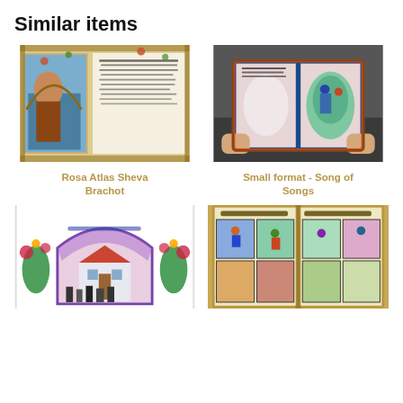Similar items
[Figure (photo): Illuminated Jewish manuscript page with ornate floral border, Hebrew text, and a colorful scene depicting figures in a ceremonial setting]
[Figure (photo): Hands holding an open illuminated book with Hebrew text on left page and an oval colorful illustration on right page, decorated border]
Rosa Atlas Sheva Brachot
Small format - Song of Songs
[Figure (photo): Illustrated Jewish art piece with Hebrew text arch, colorful floral decorations, and a street scene with people and a building with red roof]
[Figure (photo): Open illustrated book with Hebrew text at top and comic-style colorful illustrations depicting various scenes across two pages]